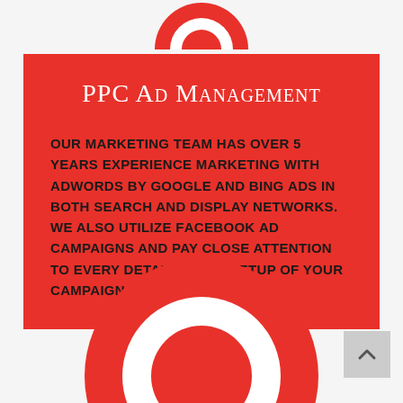[Figure (logo): Partial red circular logo/icon visible at top center, cropped by top edge]
PPC Ad Management
Our marketing team has over 5 years experience marketing with AdWords by Google and Bing Ads in both search and display networks. We also utilize Facebook Ad Campaigns and pay close attention to every detail in our setup of your campaigns.
[Figure (logo): Large red circular logo/icon visible at bottom center, partially cropped]